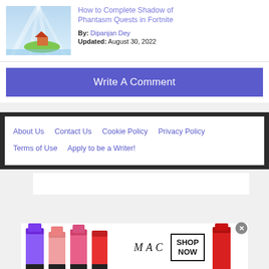[Figure (illustration): Fortnite game screenshot thumbnail showing colorful landscape]
How to Complete Shadow of Phantasm Quests in Fortnite
By: Dipanjan Dey
Updated: August 30, 2022
Write A Comment
About Us   Contact Us   Cookie Policy   Privacy Policy   Terms of Use   Apply to be a Writer!
[Figure (photo): MAC cosmetics advertisement showing lipsticks with SHOP NOW button]